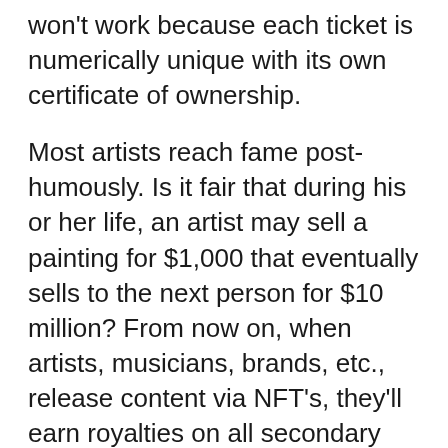won't work because each ticket is numerically unique with its own certificate of ownership.
Most artists reach fame post-humously. Is it fair that during his or her life, an artist may sell a painting for $1,000 that eventually sells to the next person for $10 million? From now on, when artists, musicians, brands, etc., release content via NFT's, they'll earn royalties on all secondary sales. When you sell that $1,000 painting for $10 million, the original artist will now receive 5-10%, and 5-10% of all sales therafter (or whatever royalty they tied to it).
If and when I sell my NFTs, the original artist will receive royalties (shown below). My first purhcase was from a release by world renowned aritist